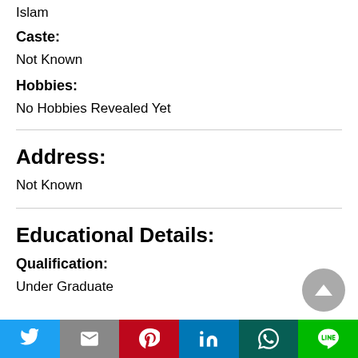Islam
Caste:
Not Known
Hobbies:
No Hobbies Revealed Yet
Address:
Not Known
Educational Details:
Qualification:
Under Graduate
Twitter | Gmail | Pinterest | LinkedIn | WhatsApp | LINE